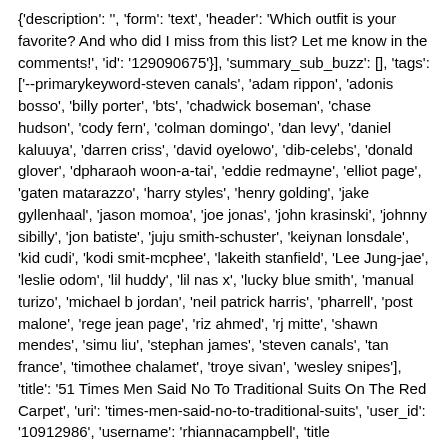{'description': '', 'form': 'text', 'header': 'Which outfit is your favorite? And who did I miss from this list? Let me know in the comments!', 'id': '129090675'}], 'summary_sub_buzz': [], 'tags': ['--primarykeyword-steven canals', 'adam rippon', 'adonis bosso', 'billy porter', 'bts', 'chadwick boseman', 'chase hudson', 'cody fern', 'colman domingo', 'dan levy', 'daniel kaluuya', 'darren criss', 'david oyelowo', 'dib-celebs', 'donald glover', 'dpharaoh woon-a-tai', 'eddie redmayne', 'elliot page', 'gaten matarazzo', 'harry styles', 'henry golding', 'jake gyllenhaal', 'jason momoa', 'joe jonas', 'john krasinski', 'johnny sibilly', 'jon batiste', 'juju smith-schuster', 'keiynan lonsdale', 'kid cudi', 'kodi smit-mcphee', 'lakeith stanfield', 'Lee Jung-jae', 'leslie odom', 'lil huddy', 'lil nas x', 'lucky blue smith', 'manual turizo', 'michael b jordan', 'neil patrick harris', 'pharrell', 'post malone', 'rege jean page', 'riz ahmed', 'rj mitte', 'shawn mendes', 'simu liu', 'stephan james', 'steven canals', 'tan france', 'timothee chalamet', 'troye sivan', 'wesley snipes'], 'title': '51 Times Men Said No To Traditional Suits On The Red Carpet', 'uri': 'times-men-said-no-to-traditional-suits', 'user_id': '10912986', 'username': 'rhiannacampbell', 'title